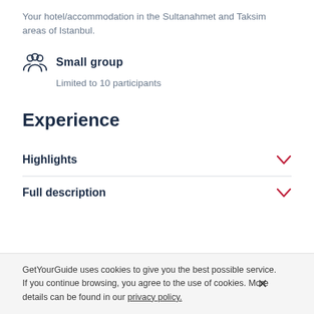Your hotel/accommodation in the Sultanahmet and Taksim areas of Istanbul.
Small group
Limited to 10 participants
Experience
Highlights
Full description
GetYourGuide uses cookies to give you the best possible service. If you continue browsing, you agree to the use of cookies. More details can be found in our privacy policy.